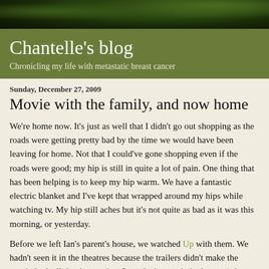[Figure (photo): Dark photograph of tree foliage/canopy against sky, used as decorative header image]
Chantelle's blog
Chronicling my life with metastatic breast cancer
Sunday, December 27, 2009
Movie with the family, and now home
We're home now. It's just as well that I didn't go out shopping as the roads were getting pretty bad by the time we would have been leaving for home. Not that I could've gone shopping even if the roads were good; my hip is still in quite a lot of pain. One thing that has been helping is to keep my hip warm. We have a fantastic electric blanket and I've kept that wrapped around my hips while watching tv. My hip still aches but it's not quite as bad as it was this morning, or yesterday.
Before we left Ian's parent's house, we watched Up with them. We hadn't seen it in the theatres because the trailers didn't make the movie look all that interesting. It made the movie look cute (what